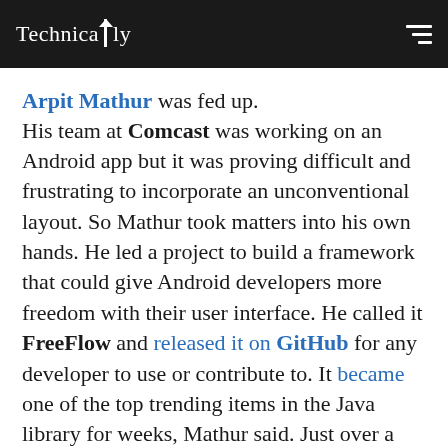Technically
Arpit Mathur was fed up. His team at Comcast was working on an Android app but it was proving difficult and frustrating to incorporate an unconventional layout. So Mathur took matters into his own hands. He led a project to build a framework that could give Android developers more freedom with their user interface. He called it FreeFlow and released it on GitHub for any developer to use or contribute to. It became one of the top trending items in the Java library for weeks, Mathur said. Just over a year later, it has been forked (i.e., copied to use as a jumping off point) nearly 350 times.
Some developers were surprised when they saw